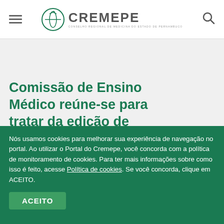CREMEPE — Conselho Regional de Medicina do Estado de Pernambuco
Comissão de Ensino Médico reúne-se para tratar da edição de caderno
Nós usamos cookies para melhorar sua experiência de navegação no portal. Ao utilizar o Portal do Cremepe, você concorda com a política de monitoramento de cookies. Para ter mais informações sobre como isso é feito, acesse Política de cookies. Se você concorda, clique em ACEITO.
ACEITO